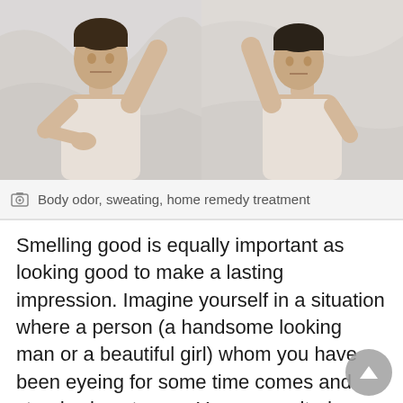[Figure (photo): Two men in tank tops raising their arms to check body odor, against a marble-like background. Left man looks at his armpit with a stern expression; right man sniffs his armpit.]
Body odor, sweating, home remedy treatment
Smelling good is equally important as looking good to make a lasting impression. Imagine yourself in a situation where a person (a handsome looking man or a beautiful girl) whom you have been eyeing for some time comes and stands close to you. You are excited; however, in another moment you